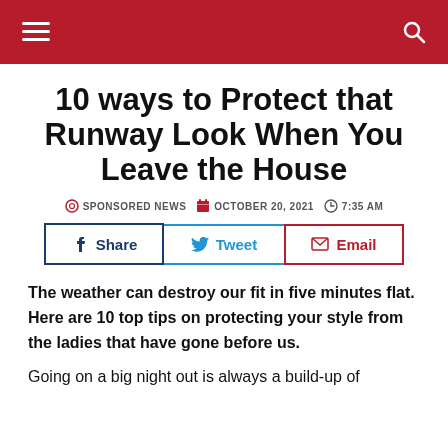Navigation bar with hamburger menu and search icon
10 ways to Protect that Runway Look When You Leave the House
SPONSORED NEWS   OCTOBER 20, 2021   7:35 AM
Share   Tweet   Email
The weather can destroy our fit in five minutes flat. Here are 10 top tips on protecting your style from the ladies that have gone before us.
Going on a big night out is always a build-up of